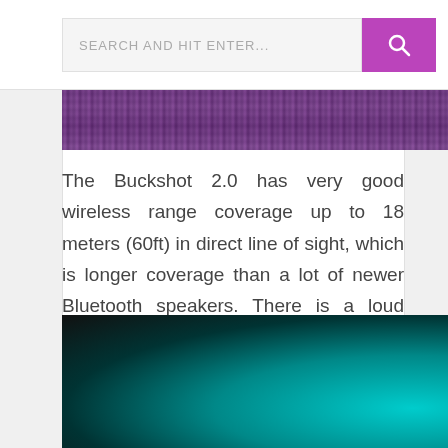SEARCH AND HIT ENTER...
[Figure (photo): Close-up of purple knitted fabric texture at the top]
The Buckshot 2.0 has very good wireless range coverage up to 18 meters (60ft) in direct line of sight, which is longer coverage than a lot of newer Bluetooth speakers. There is a loud voice prompt when reaching max volume and when battery is low, which seems to kick in when the battery is 60% empty.
[Figure (photo): A hand wearing a dark glove holding a bright teal/cyan colored object against a dark background]